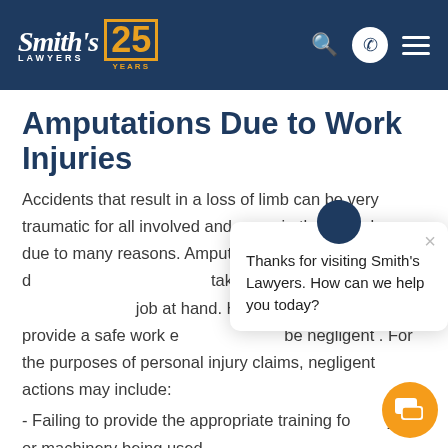Smith's Lawyers 25 Years
Amputations Due to Work Injuries
Accidents that result in a loss of limb can be very traumatic for all involved and occur in the workplace due to many reasons. Amputation accidents can occur due to employer failing to take proper care and attention to the job at hand. However, employers must provide a safe work environment or be negligent . For the purposes of personal injury claims, negligent actions may include:
- Failing to provide the appropriate training for job or machinery being used